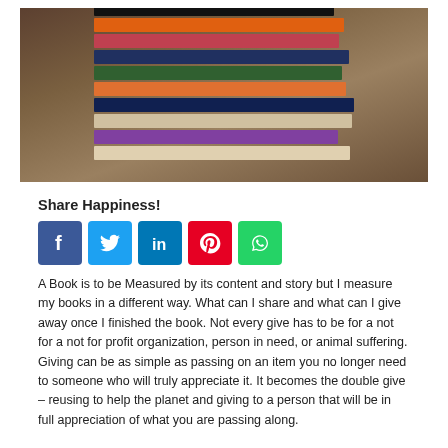[Figure (photo): A stack of colorful books piled on a wooden surface, photographed from the front showing book spines and covers.]
Share Happiness!
[Figure (infographic): Row of five social media share buttons: Facebook (blue), Twitter (light blue), LinkedIn (dark blue), Pinterest (red), WhatsApp (green).]
A Book is to be Measured by its content and story but I measure my books in a different way. What can I share and what can I give away once I finished the book. Not every give has to be for a not for a not for profit organization, person in need, or animal suffering. Giving can be as simple as passing on an item you no longer need to someone who will truly appreciate it. It becomes the double give – reusing to help the planet and giving to a person that will be in full appreciation of what you are passing along.